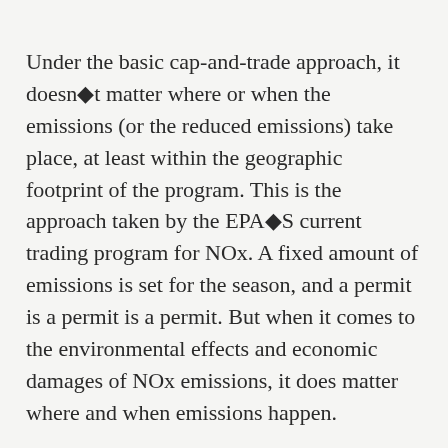Under the basic cap-and-trade approach, it doesn◆t matter where or when the emissions (or the reduced emissions) take place, at least within the geographic footprint of the program. This is the approach taken by the EPA◆S current trading program for NOx. A fixed amount of emissions is set for the season, and a permit is a permit is a permit. But when it comes to the environmental effects and economic damages of NOx emissions, it does matter where and when emissions happen.
An article soon to be published in the journal Atmospheric Environment seeks to measure the variable effect on ground-level ozone (O3) of a fixed amount of NOx emissions, depending on temperature and local hydrocarbon emissions. The article then estimates the relation between